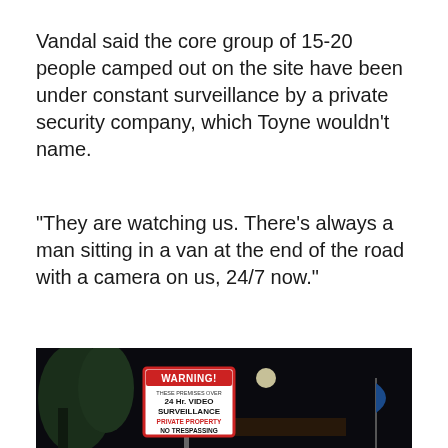Vandal said the core group of 15-20 people camped out on the site have been under constant surveillance by a private security company, which Toyne wouldn't name.
"They are watching us. There's always a man sitting in a van at the end of the road with a camera on us, 24/7 now."
[Figure (photo): Nighttime photograph showing a WARNING sign reading 'THESE PREMISES OVER 24 Hr. VIDEO SURVEILLANCE PRIVATE PROPERTY NO TRESPASSING', with dark sky, trees on the left, a distant light source resembling a moon, a building in the background, and a blue flag on the right.]